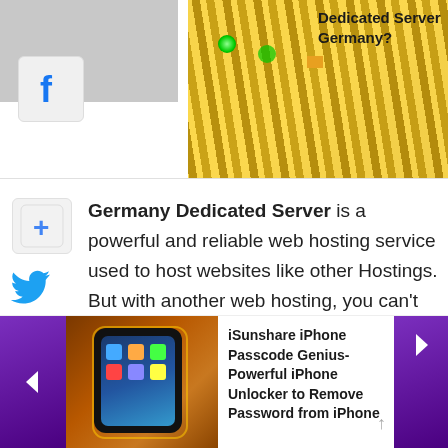[Figure (photo): Gray thumbnail placeholder top-left]
[Figure (photo): Network/ethernet cables in yellow, tangled, with green LED lights visible]
Dedicated Server Germany?
[Figure (logo): Facebook 'f' logo icon in blue on white/gray rounded square]
[Figure (infographic): Social share buttons: Google+ (blue +), Twitter (bird), Google+ red, Pinterest (P)]
Germany Dedicated Server is a powerful and reliable web hosting service used to host websites like other Hostings. But with another web hosting, you can't host the high traffic site, which requires high performance and fast speed. Whereas, with a Dedicated Server Hosting Germany
[Figure (photo): Advertisement: iSunshare iPhone Passcode Genius - Powerful iPhone Unlocker to Remove Password from iPhone. Shows phone image on brown/orange background, with purple arrow navigation buttons.]